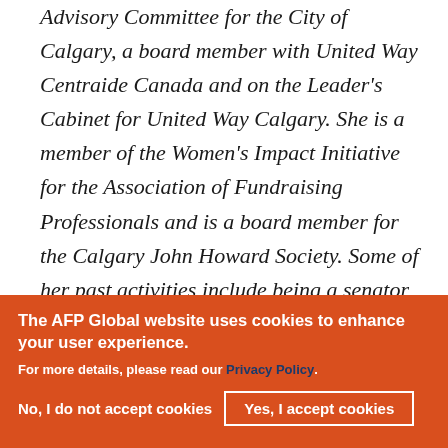Advisory Committee for the City of Calgary, a board member with United Way Centraide Canada and on the Leader's Cabinet for United Way Calgary. She is a member of the Women's Impact Initiative for the Association of Fundraising Professionals and is a board member for the Calgary John Howard Society. Some of her past activities include being a senator for the University of
The AFP Global website uses cookies to enhance your user experience.
For more details, please read our Privacy Policy.
No, I do not accept cookies
Yes, I accept cookies